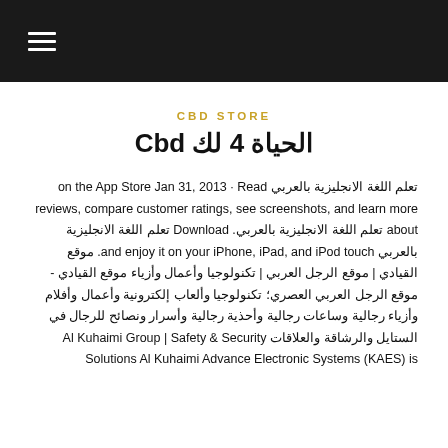≡ (hamburger menu)
CBD STORE
الحياة 4 لك Cbd
تعلم اللغة الانجليزية بالعربي on the App Store Jan 31, 2013 · Read reviews, compare customer ratings, see screenshots, and learn more about تعلم اللغة الانجليزية بالعربي. Download تعلم اللغة الانجليزية بالعربي and enjoy it on your iPhone, iPad, and iPod touch. موقع القيادي | موقع الرجل العربي | تكنولوجيا وأعمال وأزياء موقع القيادي - موقع الرجل العربي العصري؛ تكنولوجيا وألعاب إلكترونية وأعمال وأفلام وأزياء رجالية وساعات رجالية وأحذية رجالية وأسرار ونصائح للرجال في الستايل والرشاقة والعلاقات Al Kuhaimi Group | Safety & Security Solutions Al Kuhaimi Advance Electronic Systems (KAES) is